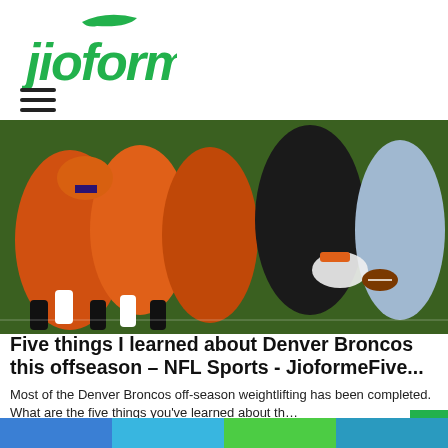[Figure (logo): jioforme logo in green with decorative leaf/swoosh above]
[Figure (photo): Football players in orange Denver Broncos uniforms at line of scrimmage on green field, close-up action shot]
Five things I learned about Denver Broncos this offseason – NFL Sports - JioformeFive...
Most of the Denver Broncos off-season weightlifting has been completed. What are the five things you’ve learned about th…
Jio For Me